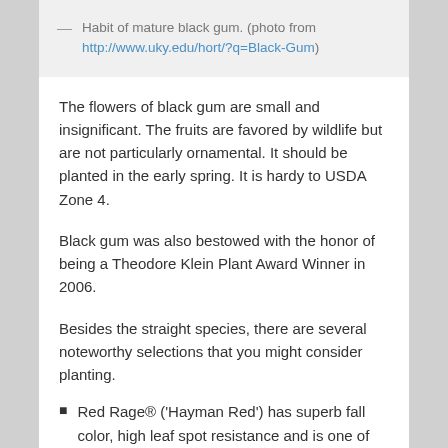— Habit of mature black gum. (photo from http://www.uky.edu/hort/?q=Black-Gum)
The flowers of black gum are small and insignificant.  The fruits are favored by wildlife but are not particularly ornamental. It should be planted in the early spring. It is hardy to USDA Zone 4.
Black gum was also bestowed with the honor of being a Theodore Klein Plant Award Winner in 2006.
Besides the straight species, there are several noteworthy selections that you might consider planting.
Red Rage® ('Hayman Red') has superb fall color, high leaf spot resistance and is one of the best new introductions.
'Autumn Cascades' is a semi-weeping form with dark, shiny leaves turning orange-red in the fall.